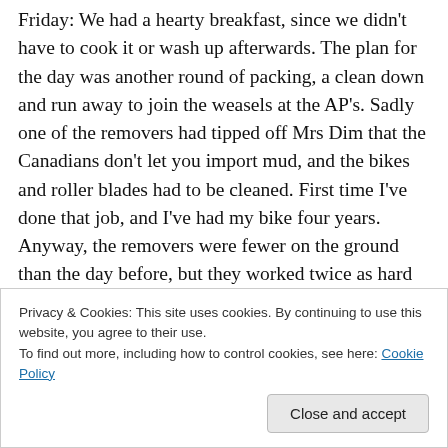Friday: We had a hearty breakfast, since we didn't have to cook it or wash up afterwards. The plan for the day was another round of packing, a clean down and run away to join the weasels at the AP's. Sadly one of the removers had tipped off Mrs Dim that the Canadians don't let you import mud, and the bikes and roller blades had to be cleaned. First time I've done that job, and I've had my bike four years. Anyway, the removers were fewer on the ground than the day before, but they worked twice as hard and were finished on time. We weren't though. We'd packed clothes into every suitcase we had, we'd thrown
Privacy & Cookies: This site uses cookies. By continuing to use this website, you agree to their use.
To find out more, including how to control cookies, see here: Cookie Policy
Close and accept